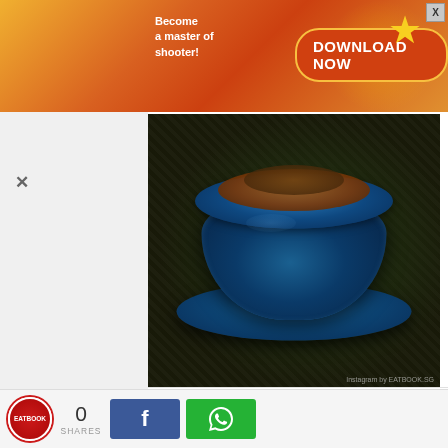[Figure (screenshot): Advertisement banner: 'Become a master of shooter! DOWNLOAD NOW' with orange gradient background and game imagery]
[Figure (photo): Close-up photo of a Japanese dish served in a round blue ceramic bowl on a blue saucer, placed on a dark woven surface. The bowl contains egg custard with goose liver in mapo sauce.]
As someone who loves the torturous numbing spice ma la gives, I was disappointed that their mapo sauce was not spicy. Nonetheless, I was in love with the generous chunk of goose liver. Its buttery texture went well with the silky egg custard, while its unctuous taste made the simple Japanese dish a decadent treat.
[Figure (screenshot): Bottom social sharing bar with Eatbook logo, 0 SHARES count, Facebook share button, and WhatsApp share button]